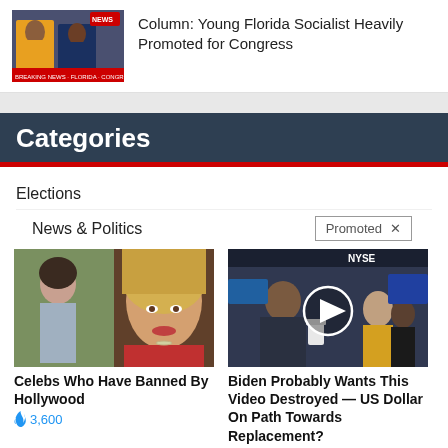[Figure (screenshot): TV screenshot showing two news anchors on a television broadcast]
Column: Young Florida Socialist Heavily Promoted for Congress
Categories
Elections
News & Politics
[Figure (photo): Collage of two women photos - one outdoors in casual wear, one in red top]
Celebs Who Have Banned By Hollywood
🔥 3,600
[Figure (screenshot): NYSE trading floor with a man in suit, video play button overlay]
Biden Probably Wants This Video Destroyed — US Dollar On Path Towards Replacement?
🔥 144,775